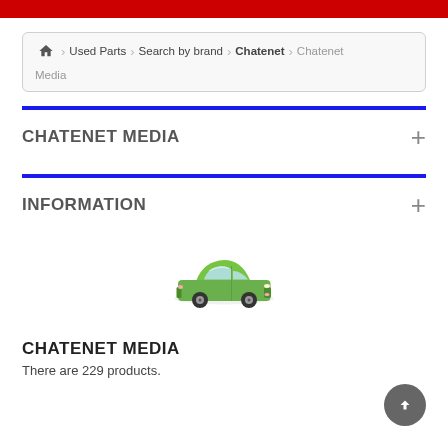Home > Used Parts > Search by brand > Chatenet > Chatenet Media
CHATENET MEDIA
INFORMATION
[Figure (illustration): Green small city car (Chatenet Media) viewed from front-left angle]
CHATENET MEDIA
There are 229 products.